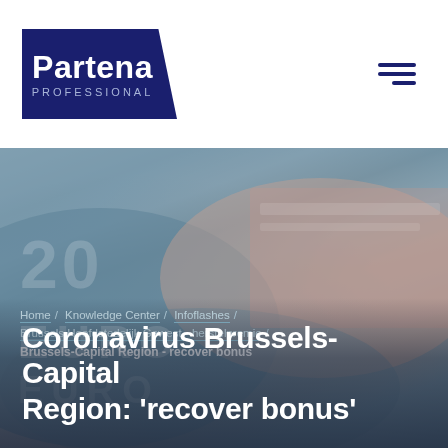[Figure (logo): Partena Professional logo — dark navy trapezoid shape with white text 'Partena' large and 'PROFESSIONAL' in smaller spaced letters below]
[Figure (other): Hamburger menu icon — three horizontal navy bars]
[Figure (photo): Blurred background photo of Euro banknotes (20 euro notes visible), blue-grey tones]
Home / Knowledge Center / Infoflashes / Brussels Hoofdstedelijk Gewest - herstelpremie / Brussels-Capital Region - recover bonus
Coronavirus Brussels-Capital Region: 'recover bonus'